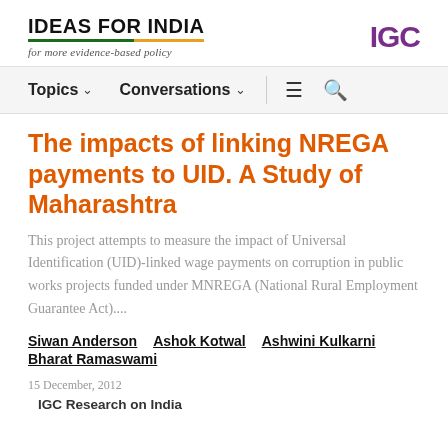IDEAS FOR INDIA / for more evidence-based policy | IGC
Topics  Conversations  ≡  🔍
The impacts of linking NREGA payments to UID. A Study of Maharashtra
This project attempts to measure the impact of Universal Identification (UID)-linked wage payments on corruption in public works projects funded under MNREGA (National Rural Employment Guarantee Act)....
Siwan Anderson  Ashok Kotwal  Ashwini Kulkarni  Bharat Ramaswami
15 December, 2012
  IGC Research on India